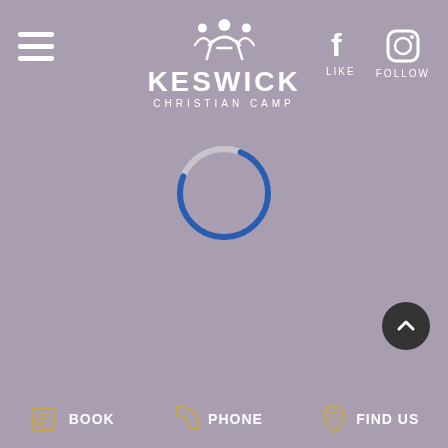[Figure (logo): Keswick Christian Camp logo with figure icon on top, white text KESWICK in large bold letters, CHRISTIAN CAMP in smaller spaced letters below]
[Figure (infographic): Hamburger menu icon (three horizontal white lines) on the left side of the header]
[Figure (infographic): Facebook 'f' icon with LIKE label below, and Instagram camera icon with FOLLOW label below, on the right side of the header]
[Figure (infographic): Loading spinner: a circular spinner with a blue arc (about 3/4 filled dark blue) and grey remainder, centered on the muted purple background]
[Figure (infographic): Dark circular scroll-to-top button with a white upward chevron arrow, positioned at lower right of main content area]
[Figure (infographic): Footer navigation bar with three items: envelope/book icon with BOOK label, phone icon with PHONE label, map pin icon with FIND US label]